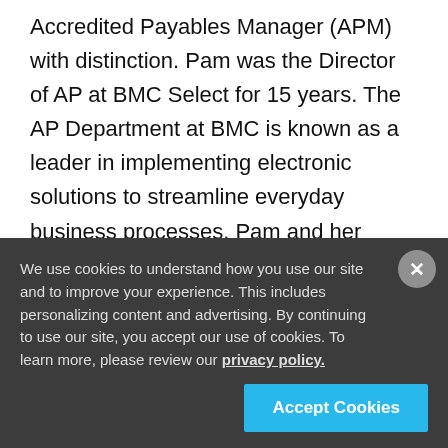Accredited Payables Manager (APM) with distinction. Pam was the Director of AP at BMC Select for 15 years. The AP Department at BMC is known as a leader in implementing electronic solutions to streamline everyday business processes. Pam and her department have received several awards recognizing their commitment to ECM.
Pam is recognized in the Accounts Payable world
We use cookies to understand how you use our site and to improve your experience. This includes personalizing content and advertising. By continuing to use our site, you accept our use of cookies. To learn more, please review our privacy policy.